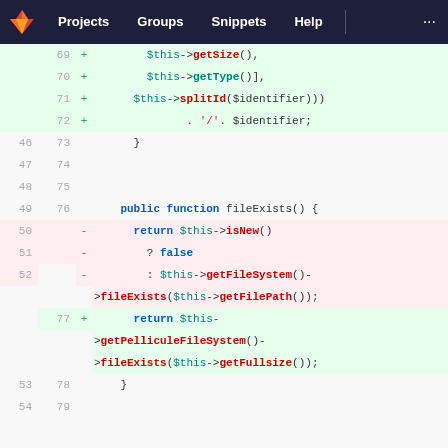[Figure (screenshot): GitLab web interface showing a code diff. Navigation bar with Projects, Groups, Snippets, Help. Code diff showing PHP file with line numbers, added lines (green) and removed lines (red). Added lines show $this->getSize(), $this->getType()], $this->splitId($identifier))), . '/'. $identifier;, public function fileExists() {, return $this->getPelliculeFileSystem()->fileExists($this->getFullsize());. Removed lines show return $this->isNew(), ? false, : $this->getFileSystem()->fileExists($this->getFilePath());]